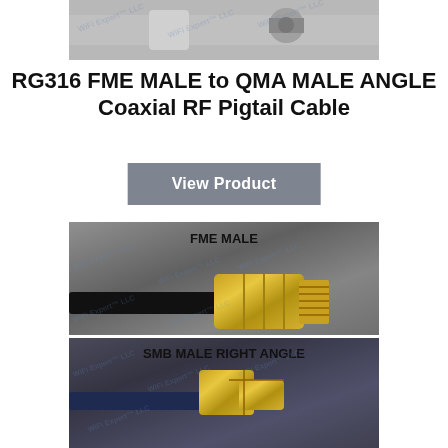[Figure (photo): Close-up photo of RF cable connectors with WiFi Expert LLC watermark overlay]
RG316 FME MALE to QMA MALE ANGLE Coaxial RF Pigtail Cable
View Product
[Figure (photo): Two-panel product photo showing FME MALE connector on top (gold threaded connector on black cable) and SMB MALE RIGHT ANGLE connector on bottom (gold right-angle connector on blue/dark cable), with WiFi Expert LLC watermarks]